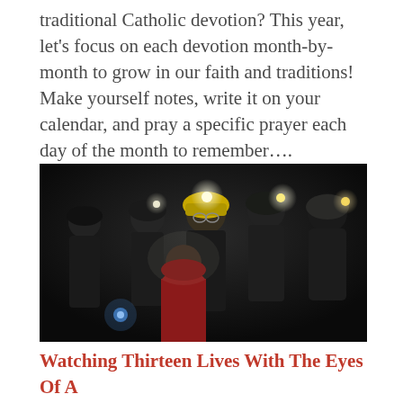traditional Catholic devotion? This year, let's focus on each devotion month-by-month to grow in our faith and traditions! Make yourself notes, write it on your calendar, and pray a specific prayer each day of the month to remember….
[Figure (photo): A dark photo showing several people wearing helmets with headlamps (rescue divers/cave rescuers) gathered around a child in a red shirt, appearing to be inside a cave. The scene is from the Thai cave rescue.]
Watching Thirteen Lives With The Eyes Of A